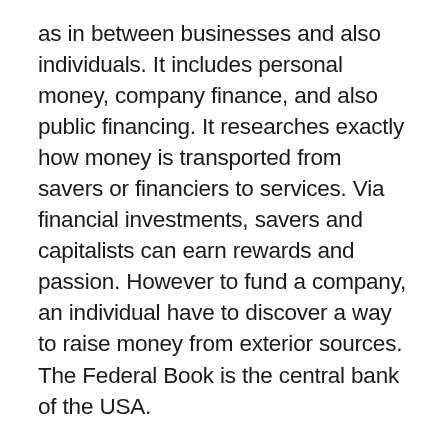as in between businesses and also individuals. It includes personal money, company finance, and also public financing. It researches exactly how money is transported from savers or financiers to services. Via financial investments, savers and capitalists can earn rewards and passion. However to fund a company, an individual have to discover a way to raise money from exterior sources. The Federal Book is the central bank of the USA.
Finance degrees are used at a number of distinguished colleges all over the world. They prepare trainees for professions in a range of areas. Some popular expertises include corporate financing, financial investment banking, behavior financing, as well as by-products. Some money